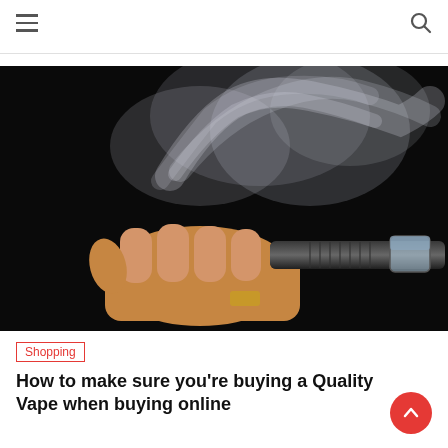[Figure (photo): A hand holding a vape/e-cigarette device against a black background with vapor/smoke rising dramatically from the tip]
Shopping
How to make sure you're buying a Quality Vape when buying online